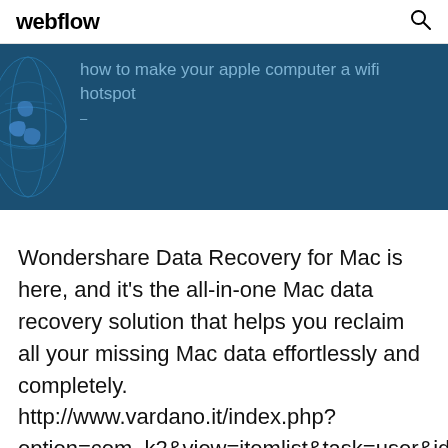webflow
[Figure (screenshot): Blue banner with globe illustration and partially visible text: 'How to make your apple computer a wifi hotspot']
Wondershare Data Recovery for Mac is here, and it's the all-in-one Mac data recovery solution that helps you reclaim all your missing Mac data effortlessly and completely. http://www.vardano.it/index.php?option=com_k2&view=itemlist&task=user&id=2